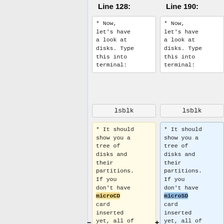Line 128:    Line 190:
* Now, let's have a look at disks. Type this into terminal:
* Now, let's have a look at disks. Type this into terminal:
lsblk
lsblk
* It should show you a tree of disks and their partitions. If you don't have microCD card inserted yet, all of them begin
* It should show you a tree of disks and their partitions. If you don't have microSD card inserted yet, all of them begin